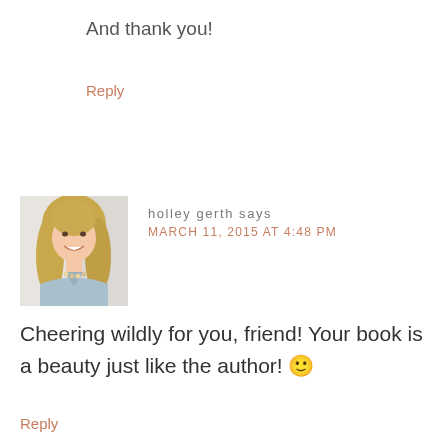And thank you!
Reply
[Figure (photo): Profile photo of a smiling blonde woman wearing a light blue denim shirt and a beaded necklace, with a light background.]
holley gerth says
MARCH 11, 2015 AT 4:48 PM
Cheering wildly for you, friend! Your book is a beauty just like the author! 🙂
Reply